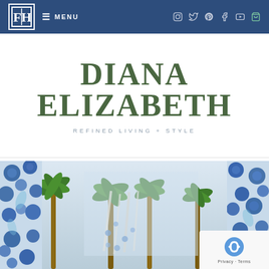FOH logo | MENU | social icons (Instagram, Twitter, Pinterest, Facebook, YouTube) | cart
DIANA ELIZABETH
REFINED LIVING + STYLE
[Figure (photo): Decorative scene with blue and white floral wallpaper/fabric on left and right sides, palm trees visible in background against a light sky, with a white/translucent panel overlay in the center, and a reCAPTCHA widget in the bottom right corner showing 'Privacy - Terms']